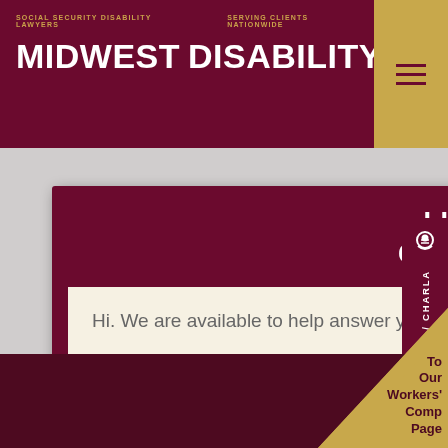SOCIAL SECURITY DISABILITY LAWYERS    SERVING CLIENTS NATIONWIDE
MIDWEST DISABILITY®
LIVE CHAT
CHAT EN VIVO
Hi. We are available to help answer your questions. Please click on the button below to chat.
START / INICIAR
CHAT / CHARLA
To Our Workers' Comp Page